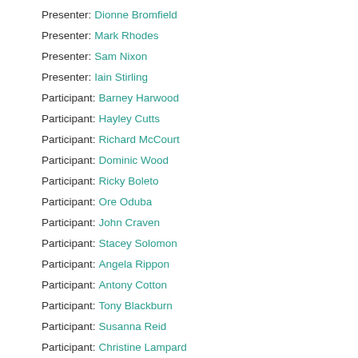Presenter: Dionne Bromfield
Presenter: Mark Rhodes
Presenter: Sam Nixon
Presenter: Iain Stirling
Participant: Barney Harwood
Participant: Hayley Cutts
Participant: Richard McCourt
Participant: Dominic Wood
Participant: Ricky Boleto
Participant: Ore Oduba
Participant: John Craven
Participant: Stacey Solomon
Participant: Angela Rippon
Participant: Antony Cotton
Participant: Tony Blackburn
Participant: Susanna Reid
Participant: Christine Lampard
Participant: Ronan Keating
Participant: Edith Bowman